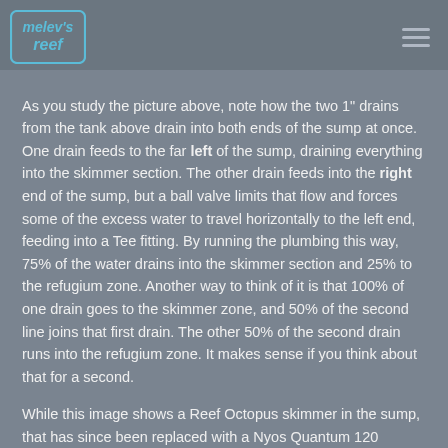melev's reef
As you study the picture above, note how the two 1" drains from the tank above drain into both ends of the sump at once. One drain feeds to the far left of the sump, draining everything into the skimmer section. The other drain feeds into the right end of the sump, but a ball valve limits that flow and forces some of the excess water to travel horizontally to the left end, feeding into a Tee fitting. By running the plumbing this way, 75% of the water drains into the skimmer section and 25% to the refugium zone. Another way to think of it is that 100% of one drain goes to the skimmer zone, and 50% of the second line joins that first drain. The other 50% of the second drain runs into the refugium zone. It makes sense if you think about that for a second.
While this image shows a Reef Octopus skimmer in the sump, that has since been replaced with a Nyos Quantum 120